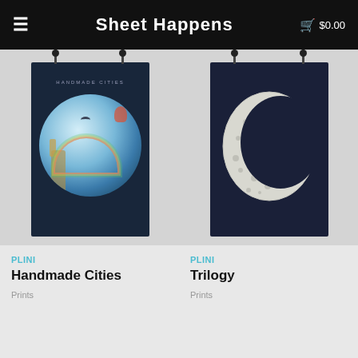Sheet Happens   $0.00
[Figure (photo): Product poster for Handmade Cities by Plini — dark navy poster with circular fantasy collage featuring a giraffe, hot air balloons, birds, and surreal cityscape with rainbow, hanging from two black clips]
PLINI
Handmade Cities
Prints
[Figure (photo): Product poster for Trilogy by Plini — dark navy poster with large white crescent moon illustration with detailed patterns, hanging from two black clips]
PLINI
Trilogy
Prints